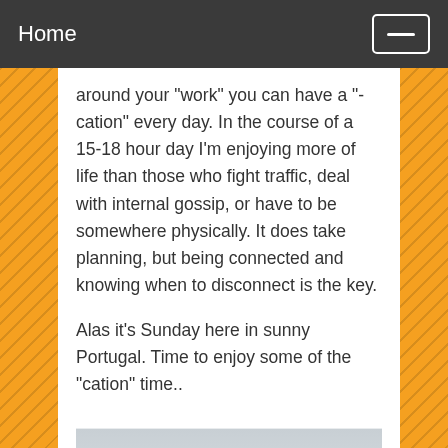Home
around your "work" you can have a "-cation" every day. In the course of a 15-18 hour day I'm enjoying more of life than those who fight traffic, deal with internal gossip, or have to be somewhere physically. It does take planning, but being connected and knowing when to disconnect is the key.
Alas it's Sunday here in sunny Portugal. Time to enjoy some of the "cation" time..
[Figure (photo): Aerial coastal view of a sunny Portuguese beach and rocky shoreline with calm ocean water and distant city skyline]